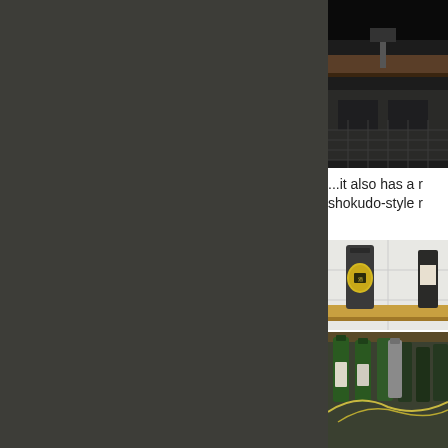[Figure (photo): Dark background panel on the left side of the page]
[Figure (photo): Interior photo showing a bar or restaurant counter area with dark ceiling fixtures and a table surface]
...it also has a r shokudo-style r
[Figure (photo): Shelf with sake bottles, including one with a yellow/gold label, against white tiled wall]
[Figure (photo): Lower shelf with multiple green sake/liquor bottles and dried wheat/grain decoration]